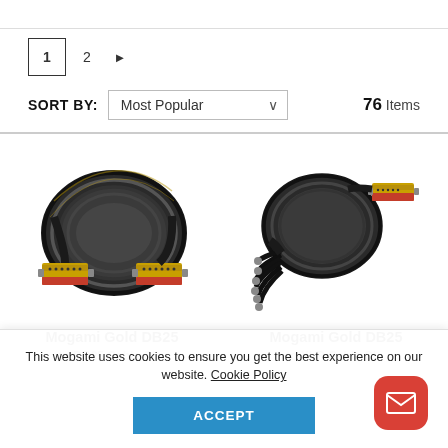1  2  ▶
SORT BY: Most Popular   76 Items
[Figure (photo): Mogami Gold DB25 to DB25 cable coiled in a circle with gold/red connectors at both ends]
Mogami Gold DB25
[Figure (photo): Mogami Gold DB25 to XLR cable fan-out with multiple XLR connectors on one end and red DB25 on the other]
Mogami Gold DB25
This website uses cookies to ensure you get the best experience on our website. Cookie Policy
ACCEPT